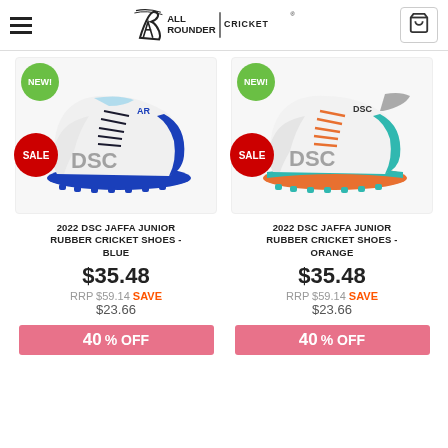All Rounder Cricket
[Figure (photo): DSC Jaffa Junior Rubber Cricket Shoes - Blue, white shoe with blue sole, NEW! and SALE badges]
[Figure (photo): DSC Jaffa Junior Rubber Cricket Shoes - Orange, white shoe with orange and teal sole, NEW! and SALE badges]
2022 DSC JAFFA JUNIOR RUBBER CRICKET SHOES - BLUE
$35.48
RRP $59.14 SAVE $23.66
40 % OFF
2022 DSC JAFFA JUNIOR RUBBER CRICKET SHOES - ORANGE
$35.48
RRP $59.14 SAVE $23.66
40 % OFF